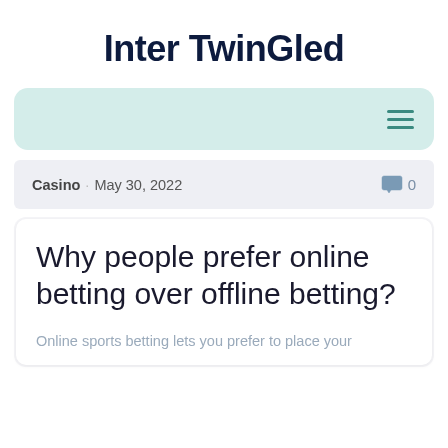Inter TwinGled
[Figure (other): Navigation bar with teal/mint background and hamburger menu icon (three horizontal lines) on the right]
Casino · May 30, 2022    💬 0
Why people prefer online betting over offline betting?
Online sports betting lets you prefer to place your